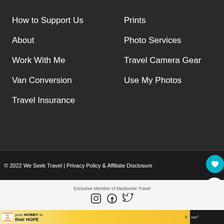How to Support Us
About
Work With Me
Van Conversion
Travel Insurance
Prints
Photo Services
Travel Camera Gear
Use My Photos
© 2022 We Seek Travel | Privacy Policy & Affiliate Disclosure
Exclusive Member of Mediavine Travel
[Figure (infographic): Social media icons: Instagram, Facebook, Twitter]
[Figure (photo): Advertisement banner: cookies for kid cancer - your HOBBY is their HOPE]